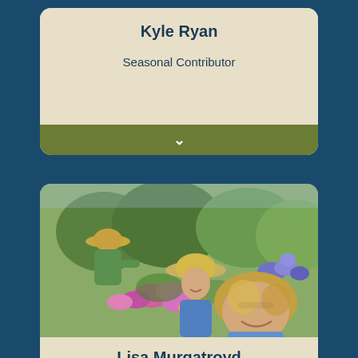Kyle Ryan
Seasonal Contributor
[Figure (photo): A garden scene with three people working among colorful flowers including pink and purple blooms, with trees in the background. A smiling woman in the foreground, a man in a straw hat in the middle, and another person in a green shirt and wide brim hat in the background.]
Lisa Murgatroyd